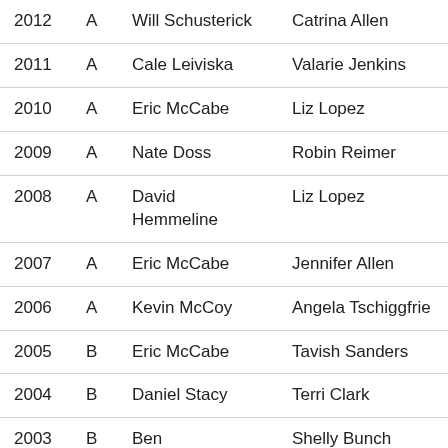| Year | Class | Winner | Runner-up |
| --- | --- | --- | --- |
| 2012 | A | Will Schusterick | Catrina Allen |
| 2011 | A | Cale Leiviska | Valarie Jenkins |
| 2010 | A | Eric McCabe | Liz Lopez |
| 2009 | A | Nate Doss | Robin Reimer |
| 2008 | A | David Hemmeline | Liz Lopez |
| 2007 | A | Eric McCabe | Jennifer Allen |
| 2006 | A | Kevin McCoy | Angela Tschiggfrie |
| 2005 | B | Eric McCabe | Tavish Sanders |
| 2004 | B | Daniel Stacy | Terri Clark |
| 2003 | B | Ben | Shelly Bunch |